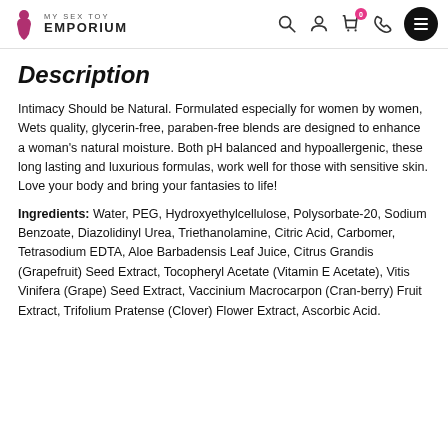MY SEX TOY EMPORIUM
Description
Intimacy Should be Natural. Formulated especially for women by women, Wets quality, glycerin-free, paraben-free blends are designed to enhance a woman’s natural moisture. Both pH balanced and hypoallergenic, these long lasting and luxurious formulas, work well for those with sensitive skin. Love your body and bring your fantasies to life!
Ingredients: Water, PEG, Hydroxyethylcellulose, Polysorbate-20, Sodium Benzoate, Diazolidinyl Urea, Triethanolamine, Citric Acid, Carbomer, Tetrasodium EDTA, Aloe Barbadensis Leaf Juice, Citrus Grandis (Grapefruit) Seed Extract, Tocopheryl Acetate (Vitamin E Acetate), Vitis Vinifera (Grape) Seed Extract, Vaccinium Macrocarpon (Cran-berry) Fruit Extract, Trifolium Pratense (Clover) Flower Extract, Ascorbic Acid.